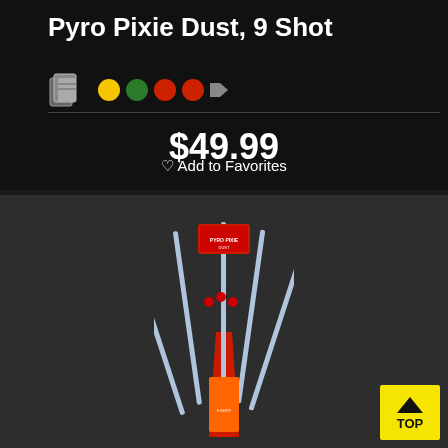Pyro Pixie Dust, 9 Shot
[Figure (illustration): Swatch/palette icon and colored dots (yellow, green, red, red) indicating product colors]
$49.99
♡ Add to Favorites
[Figure (photo): Product photo of Pyro Pixie Dust 9 Shot fireworks package — a tall triangular red package with multiple sparkler sticks fanning out upward, shown against a dark background]
[Figure (other): Yellow TOP button with upward chevron arrow for scrolling back to top]